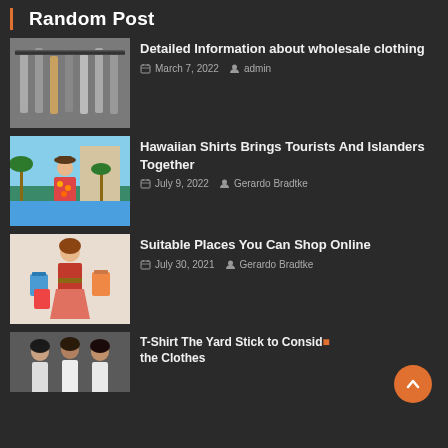Random Post
[Figure (photo): Clothes hanging on hangers in a clothing store]
Detailed Information about wholesale clothing
March 7, 2022   admin
[Figure (photo): Man in hawaiian shirt smiling]
Hawaiian Shirts Brings Tourists And Islanders Together
July 9, 2022   Gerardo Bradtke
[Figure (photo): Woman holding shopping bags]
Suitable Places You Can Shop Online
July 30, 2021   Gerardo Bradtke
[Figure (photo): Women posing in t-shirts]
T-Shirt The Yard Stick to Consider the Clothes